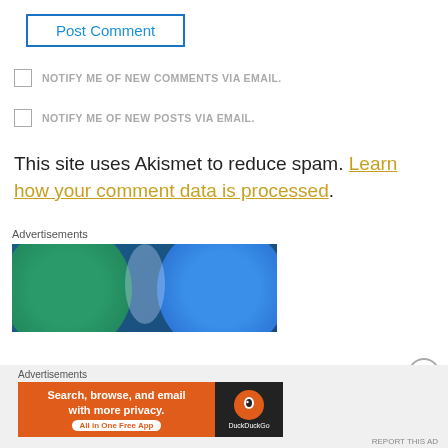Post Comment
NOTIFY ME OF NEW COMMENTS VIA EMAIL.
NOTIFY ME OF NEW POSTS VIA EMAIL.
This site uses Akismet to reduce spam. Learn how your comment data is processed.
Advertisements
[Figure (other): Advertisement banner with blue background showing overlapping green and blue circles]
Advertisements
[Figure (other): DuckDuckGo advertisement: Search, browse, and email with more privacy. All in One Free App]